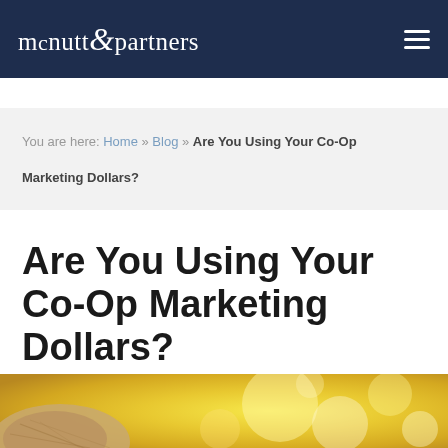mcnutt & partners
You are here: Home » Blog » Are You Using Your Co-Op Marketing Dollars?
Are You Using Your Co-Op Marketing Dollars?
[Figure (photo): Blurred bokeh background in warm yellow and golden tones with a burlap sack or textured object in the lower left foreground.]